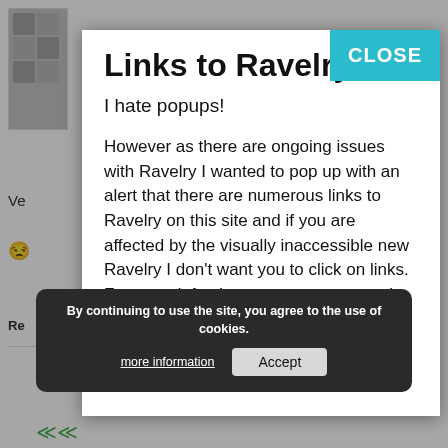[Figure (screenshot): Background webpage content partially visible behind modal: decorative logo/image top-left, partial text 'Ve' and 'Re' on left side, emoji face, letter 'L' on right]
Links to Ravelry
I hate popups!
However as there are ongoing issues with Ravelry I wanted to pop up with an alert that there are numerous links to Ravelry on this site and if you are affected by the visually inaccessible new Ravelry I don't want you to click on links. For more info please see my post on the front page of the website.
Thanks for stopping by the WoolWork website
clearly I should plan to join in with the Hap Along from the Knit British podcast, and clearly I should do so with a self-designed Hap. Actually, [...]
By continuing to use the site, you agree to the use of cookies. more information Accept